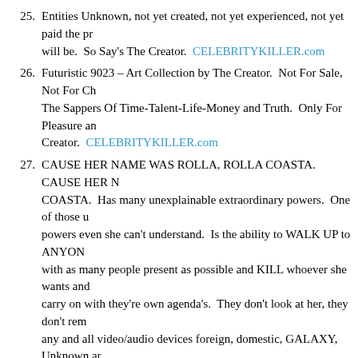25. Entities Unknown, not yet created, not yet experienced, not yet paid the pr... will be. So Say's The Creator. CELEBRITYKILLER.com
26. Futuristic 9023 – Art Collection by The Creator. Not For Sale, Not For Ch... The Sappers Of Time-Talent-Life-Money and Truth. Only For Pleasure an... Creator. CELEBRITYKILLER.com
27. CAUSE HER NAME WAS ROLLA, ROLLA COASTA. CAUSE HER N... COASTA. Has many unexplainable extraordinary powers. One of those u... powers even she can't understand. Is the ability to WALK UP to ANYON... with as many people present as possible and KILL whoever she wants and... carry on with they're own agenda's. They don't look at her, they don't rem... any and all video/audio devices foreign, domestic, GALAXY, Unknown ar... her presence of extraordinary unexplainable POWER. Again, she can't exp... extraordinary unexplainable powers but she loves all of her extraordinary u... the ones not revealed here, only for the WORTHY ONE and the WORTHY... NAME WAS ROLLA, ROLLA COASTA. So say's THE CREATOR. MA... CELEBRITYKILLER.com
28. SHE DOESn'T LISTEN. She Doesn't Listen will have her own territory w... may DO and LEARN at her own PACE. When she ventures out of her ow...